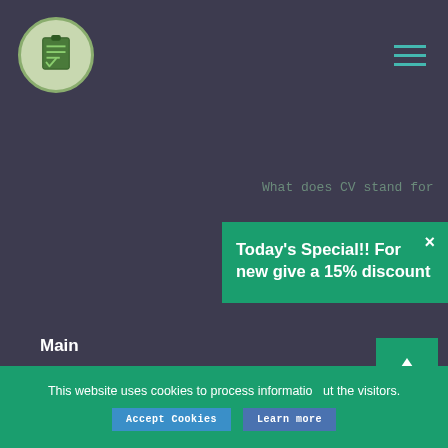Site logo and navigation hamburger menu
What does CV stand for
Today's Special!! For new give a 15% discount
Main
About us
How it works
A-Z Posts
Plagiarism checker
Contact
FAQ
Money back guarantee
Revision policy
Cookie Policy
Privacy Policy
Terms and Conditions
This website uses cookies to process information about the visitors.
[Figure (other): Scroll to top button with upward arrow]